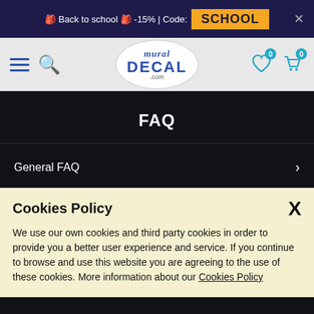🎒 Back to school 🎒 -15% | Code: SCHOOL ✕
[Figure (logo): Mural Decal .com logo with hamburger menu and search icon on left, heart and cart icons on right]
FAQ
General FAQ
Install it yourself
International: [UK flag] ∧
Cookies Policy
We use our own cookies and third party cookies in order to provide you a better user experience and service. If you continue to browse and use this website you are agreeing to the use of these cookies. More information about our Cookies Policy